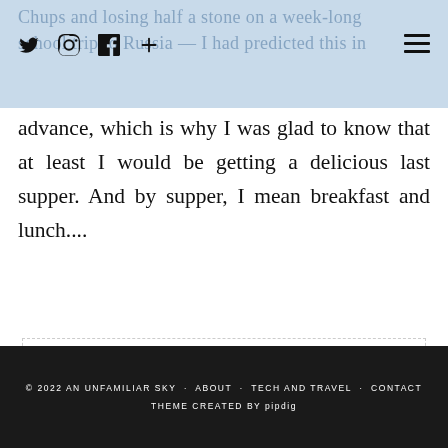Chups and losing half a stone on a week-long school trip to Russia — I had predicted this in advance, which is why I was glad to know that at least I would be getting a delicious last supper. And by supper, I mean breakfast and lunch....
advance, which is why I was glad to know that at least I would be getting a delicious last supper. And by supper, I mean breakfast and lunch....
VIEW POST
SHARE:  2 COMMENTS
© 2022 AN UNFAMILIAR SKY · ABOUT · TECH AND TRAVEL · CONTACT
THEME CREATED BY pipdig